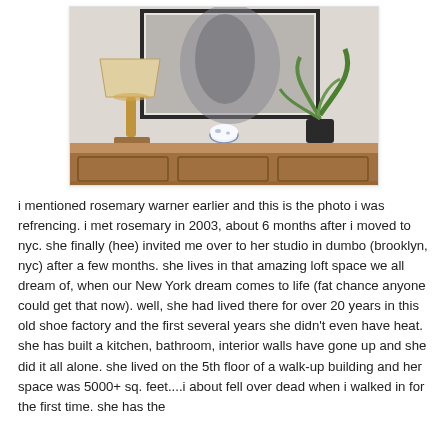[Figure (photo): A wooden sideboard/console table with a woven lamp, a blue and white bowl, and a potted plant placed on top, with a dark-framed artwork leaning against the wall behind.]
i mentioned rosemary warner earlier and this is the photo i was refrencing. i met rosemary in 2003, about 6 months after i moved to nyc. she finally (hee) invited me over to her studio in dumbo (brooklyn, nyc) after a few months. she lives in that amazing loft space we all dream of, when our New York dream comes to life (fat chance anyone could get that now). well, she had lived there for over 20 years in this old shoe factory and the first several years she didn't even have heat. she has built a kitchen, bathroom, interior walls have gone up and she did it all alone. she lived on the 5th floor of a walk-up building and her space was 5000+ sq. feet....i about fell over dead when i walked in for the first time. she has the